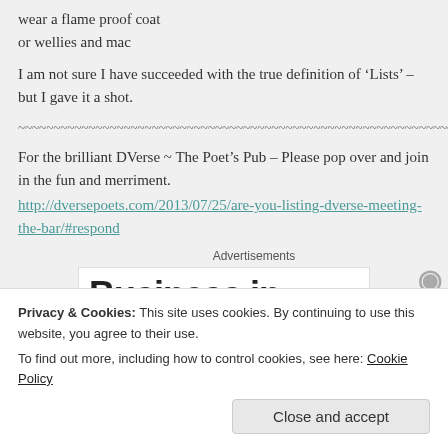wear a flame proof coat
or wellies and mac
I am not sure I have succeeded with the true definition of ‘Lists’ – but I gave it a shot.
~~~~~~~~~~~~~~~~~~~~~~~~~~~~~~~~~~~~~~~~~~~~~~~~~~~~~~~~~~~~~~~~~~
For the brilliant DVerse ~ The Poet’s Pub – Please pop over and join in the fun and merriment.
http://dversepoets.com/2013/07/25/are-you-listing-dverse-meeting-the-bar/#respond
Advertisements
[Figure (other): Partial advertisement banner showing text 'Business in' in bold black font]
Privacy & Cookies: This site uses cookies. By continuing to use this website, you agree to their use.
To find out more, including how to control cookies, see here: Cookie Policy
Close and accept